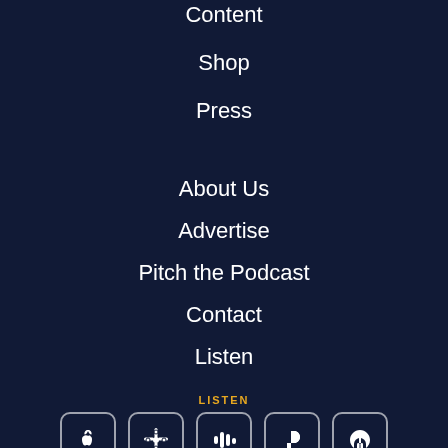Content
Shop
Press
About Us
Advertise
Pitch the Podcast
Contact
Listen
LISTEN
[Figure (illustration): Row of five podcast platform icons: Apple Podcasts, Google Podcasts, Castbox, Pandora, iHeartRadio]